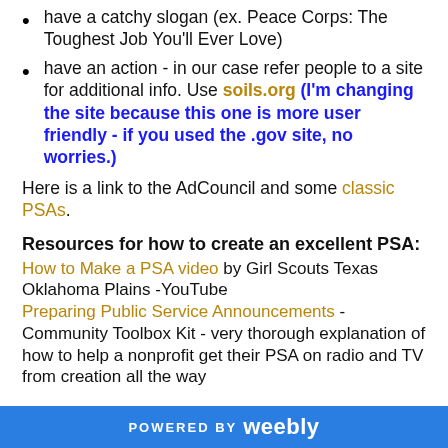have a catchy slogan (ex. Peace Corps: The Toughest Job You'll Ever Love)
have an action - in our case refer people to a site for additional info. Use soils.org (I'm changing the site because this one is more user friendly - if you used the .gov site, no worries.)
Here is a link to the AdCouncil and some classic PSAs.
Resources for how to create an excellent PSA:
How to Make a PSA video by Girl Scouts Texas Oklahoma Plains -YouTube
Preparing Public Service Announcements - Community Toolbox Kit - very thorough explanation of how to help a nonprofit get their PSA on radio and TV from creation all the way
POWERED BY weebly